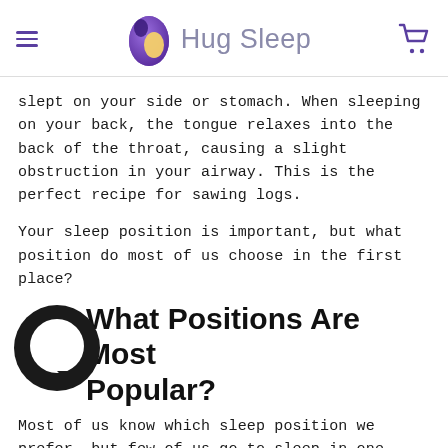Hug Sleep
slept on your side or stomach. When sleeping on your back, the tongue relaxes into the back of the throat, causing a slight obstruction in your airway. This is the perfect recipe for sawing logs.
Your sleep position is important, but what position do most of us choose in the first place?
What Positions Are Most Popular?
Most of us know which sleep position we prefer, but few of us go to sleep in one position and wake up in the same one; most people switch positions a